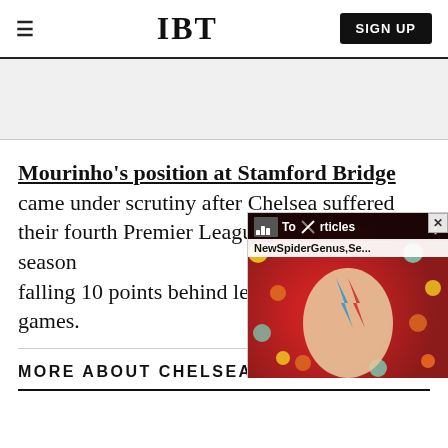IBT | SIGN UP
[Figure (other): Gray advertisement banner area]
Mourinho's position at Stamford Bridge came under scrutiny after Chelsea suffered their fourth Premier League defeat of the season against Southampton falling 10 points behind leaders after just eight games.
[Figure (screenshot): Overlay widget showing 'Top Articles' bar with 'NewSpiderGenus,Se...' label over a colorful portrait background]
MORE ABOUT CHELSEA